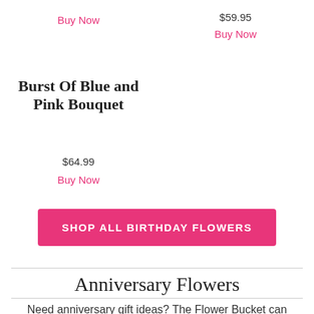Buy Now
$59.95
Buy Now
Burst Of Blue and Pink Bouquet
$64.99
Buy Now
SHOP ALL BIRTHDAY FLOWERS
Anniversary Flowers
Need anniversary gift ideas? The Flower Bucket can help! We've got all types of flowers for an